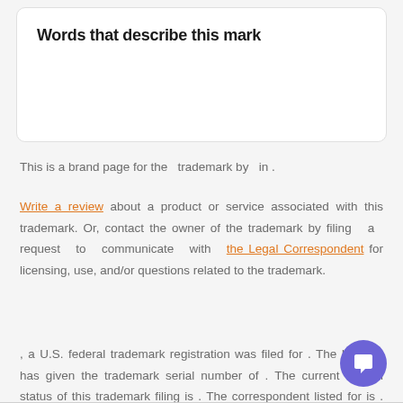Words that describe this mark
This is a brand page for the  trademark by  in .
Write a review about a product or service associated with this trademark. Or, contact the owner of the trademark by filing a request to communicate with the Legal Correspondent for licensing, use, and/or questions related to the trademark.
, a U.S. federal trademark registration was filed for . The USPTO has given the trademark serial number of . The current federal status of this trademark filing is . The correspondent listed for is . The trademark is filed in the category of . The description provided to the USPTO for is